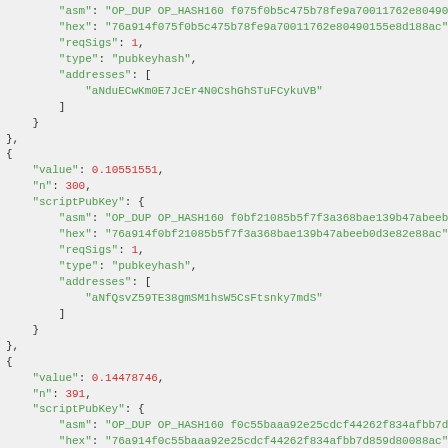JSON code block showing Bitcoin transaction output entries with scriptPubKey fields including asm, hex, reqSigs, type, and addresses for multiple vout entries (n: 300, 301, and beginning of next entry with value 125.01344002)